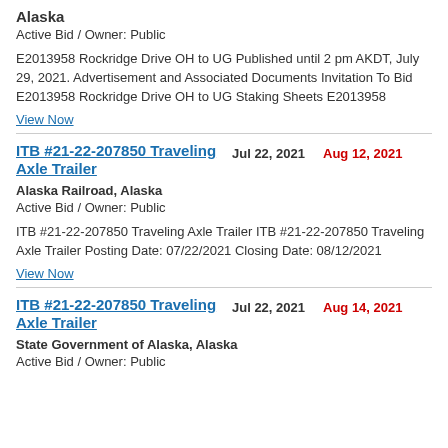Alaska
Active Bid / Owner: Public
E2013958 Rockridge Drive OH to UG Published until 2 pm AKDT, July 29, 2021. Advertisement and Associated Documents Invitation To Bid E2013958 Rockridge Drive OH to UG Staking Sheets E2013958
View Now
ITB #21-22-207850 Traveling Axle Trailer
Jul 22, 2021
Aug 12, 2021
Alaska Railroad, Alaska
Active Bid / Owner: Public
ITB #21-22-207850 Traveling Axle Trailer ITB #21-22-207850 Traveling Axle Trailer Posting Date: 07/22/2021 Closing Date: 08/12/2021
View Now
ITB #21-22-207850 Traveling Axle Trailer
Jul 22, 2021
Aug 14, 2021
State Government of Alaska, Alaska
Active Bid / Owner: Public